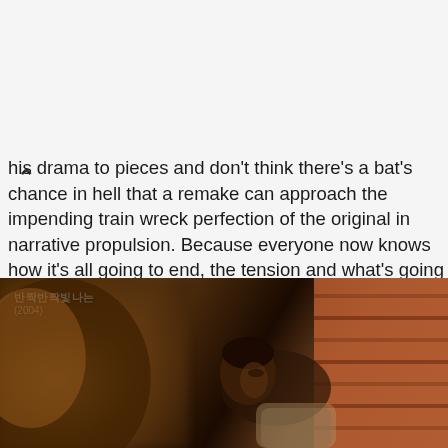his drama to pieces and don't think there's a bat's chance in hell that a remake can approach the impending train wreck perfection of the original in narrative propulsion. Because everyone now knows how it's all going to end, the tension and what's going on nervousness won't be there anymore, not to mention I doubt any of the current crop of twenty-something actors and actresses can pull off what the OT3 did in the original. I admit the 2004 drama now looks crazy dated in visuals but if you can overlook that then the acting, story, directing, and soundtrack all combine to still deliver a gut punch of melodrama intensity that has nary been approached for me since WHIB.
[Figure (photo): Screenshot from a 2004 Korean drama showing a blurred foreground figure and a man lying down, with a brick wall visible in the background. Korean text and '(2004)' appear in the upper left corner.]